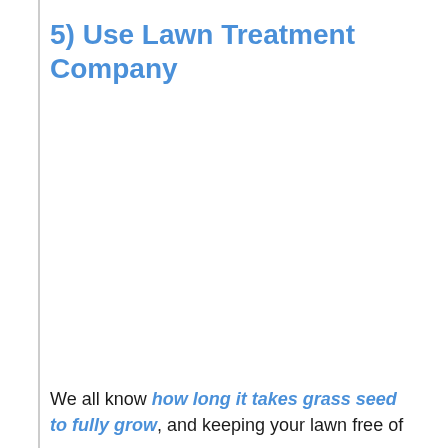5) Use Lawn Treatment Company
We all know how long it takes grass seed to fully grow, and keeping your lawn free of